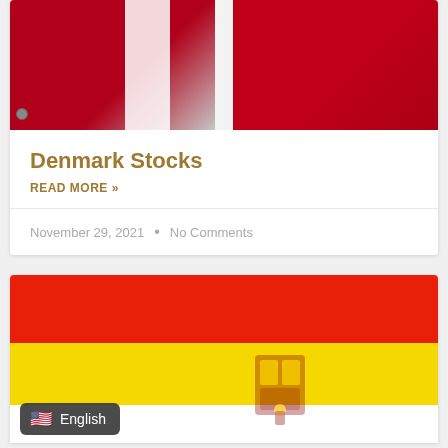[Figure (photo): Denmark flag showing red and white Nordic cross design, split into two panels]
Denmark Stocks
READ MORE »
November 29, 2021  •  No Comments
[Figure (photo): Spain flag showing red and yellow horizontal stripes with coat of arms; English language selector pill overlay in bottom left]